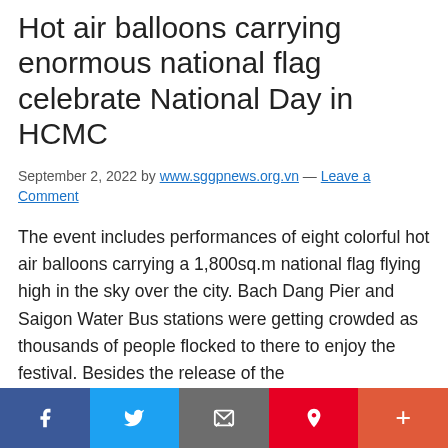Hot air balloons carrying enormous national flag celebrate National Day in HCMC
September 2, 2022 by www.sggpnews.org.vn — Leave a Comment
The event includes performances of eight colorful hot air balloons carrying a 1,800sq.m national flag flying high in the sky over the city. Bach Dang Pier and Saigon Water Bus stations were getting crowded as thousands of people flocked to there to enjoy the festival. Besides the release of the